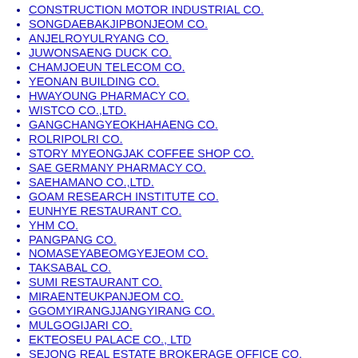CONSTRUCTION MOTOR INDUSTRIAL CO.
SONGDAEBAKJIPBONJEOM CO.
ANJELROYULRYANG CO.
JUWONSAENG DUCK CO.
CHAMJOEUN TELECOM CO.
YEONAN BUILDING CO.
HWAYOUNG PHARMACY CO.
WISTCO CO.,LTD.
GANGCHANGYEOKHAHAENG CO.
ROLRIPOLRI CO.
STORY MYEONGJAK COFFEE SHOP CO.
SAE GERMANY PHARMACY CO.
SAEHAMANO CO.,LTD.
GOAM RESEARCH INSTITUTE CO.
EUNHYE RESTAURANT CO.
YHM CO.
PANGPANG CO.
NOMASEYABEOMGYEJEOM CO.
TAKSABAL CO.
SUMI RESTAURANT CO.
MIRAENTEUKPANJEOM CO.
GGOMYIRANGJJANGYIRANG CO.
MULGOGIJARI CO.
EKTEOSEU PALACE CO., LTD
SEJONG REAL ESTATE BROKERAGE OFFICE CO.